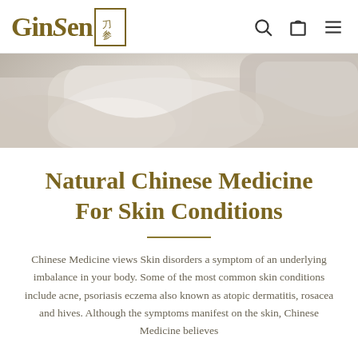GinSen
[Figure (photo): Close-up of a person wrapped in a white fluffy towel/robe, soft light background]
Natural Chinese Medicine For Skin Conditions
Chinese Medicine views Skin disorders a symptom of an underlying imbalance in your body. Some of the most common skin conditions include acne, psoriasis eczema also known as atopic dermatitis, rosacea and hives. Although the symptoms manifest on the skin, Chinese Medicine believes